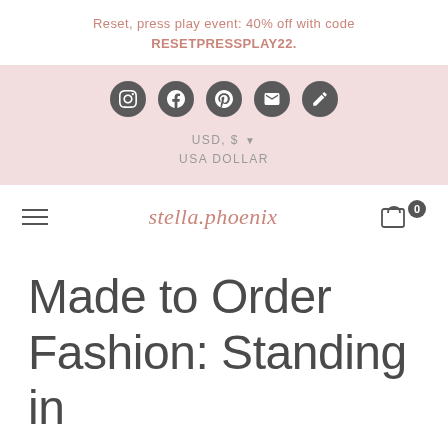Reset, press play event: 40% off with code RESETPRESSPLAY22.
[Figure (screenshot): Social media icons (Instagram, Facebook, Pinterest, Email, Edit) in dark grey circles, followed by USD, $ USA DOLLAR currency selector on pink background]
stella.phoenix — navigation bar with hamburger menu and cart icon showing 0 items
Made to Order Fashion: Standing in